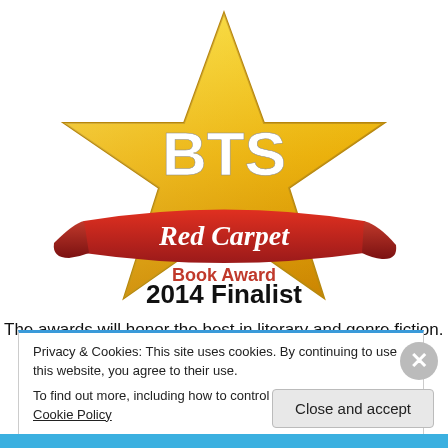[Figure (illustration): BTS Red Carpet Book Award 2014 Finalist badge: a gold five-pointed star with 'BTS' in white bold text in the center, and a red ribbon banner below the star reading 'Red Carpet' in white, with 'Book Award' in red and '2014 Finalist' in bold black text below the ribbon.]
The awards will honor the best in literary and genre fiction.
Privacy & Cookies: This site uses cookies. By continuing to use this website, you agree to their use.
To find out more, including how to control cookies, see here: Cookie Policy
Close and accept